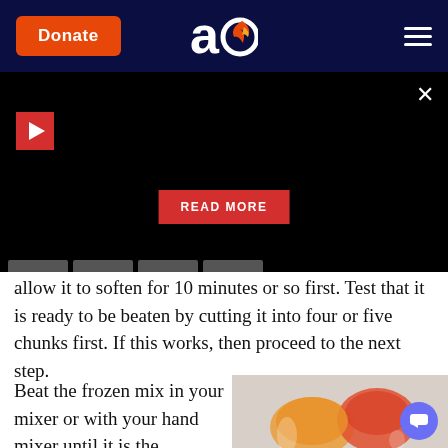Donate | AO logo | hamburger menu
[Figure (screenshot): Black video player area with red play button, READ MORE button, and video tab indicators at the bottom. Close X button top-right.]
allow it to soften for 10 minutes or so first. Test that it is ready to be beaten by cutting it into four or five chunks first. If this works, then proceed to the next step.
Beat the frozen mix in your mixer or with your hand mixer until it is the consistency of
[Figure (photo): Two scoops of peach/orange sorbet in a clear glass dish, on a light gray background.]